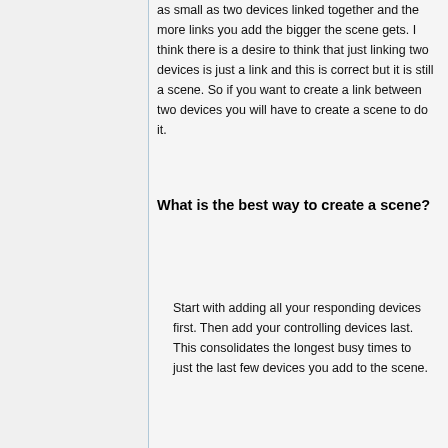as small as two devices linked together and the more links you add the bigger the scene gets. I think there is a desire to think that just linking two devices is just a link and this is correct but it is still a scene. So if you want to create a link between two devices you will have to create a scene to do it.
What is the best way to create a scene?
Start with adding all your responding devices first. Then add your controlling devices last. This consolidates the longest busy times to just the last few devices you add to the scene.